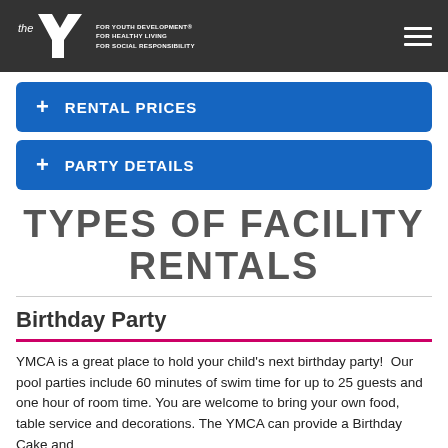YMCA header with logo and navigation
RENTAL PRICES
PARTY DETAILS
TYPES OF FACILITY RENTALS
Birthday Party
YMCA is a great place to hold your child's next birthday party!  Our pool parties include 60 minutes of swim time for up to 25 guests and one hour of room time. You are welcome to bring your own food, table service and decorations. The YMCA can provide a Birthday Cake and